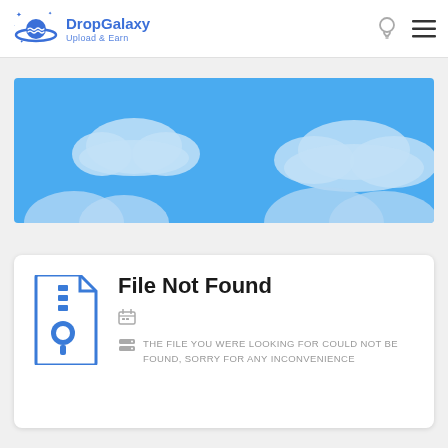DropGalaxy — Upload & Earn
[Figure (illustration): Blue sky with white fluffy clouds banner image]
File Not Found
THE FILE YOU WERE LOOKING FOR COULD NOT BE FOUND, SORRY FOR ANY INCONVENIENCE